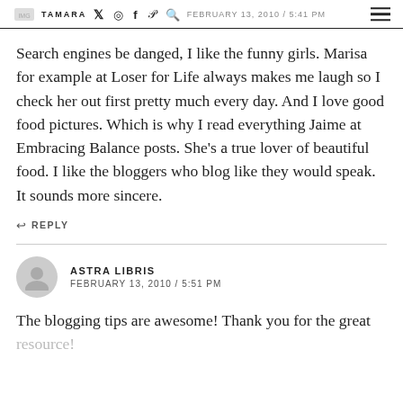TAMARA | FEBRUARY 13, 2010 / 5:41 PM
Search engines be danged, I like the funny girls. Marisa for example at Loser for Life always makes me laugh so I check her out first pretty much every day. And I love good food pictures. Which is why I read everything Jaime at Embracing Balance posts. She’s a true lover of beautiful food. I like the bloggers who blog like they would speak. It sounds more sincere.
↩ REPLY
ASTRA LIBRIS
FEBRUARY 13, 2010 / 5:51 PM
The blogging tips are awesome! Thank you for the great resource!